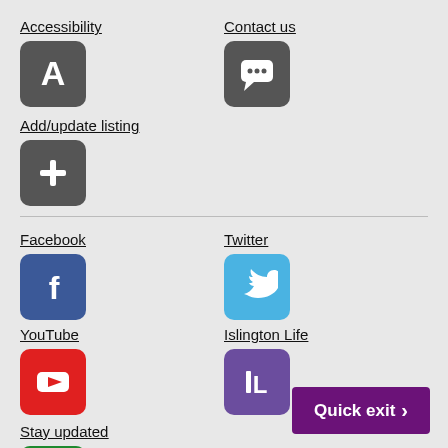Accessibility
[Figure (logo): Dark rounded square icon with white letter A]
Contact us
[Figure (logo): Dark rounded square icon with white speech bubble / chat dots]
Add/update listing
[Figure (logo): Dark rounded square icon with white plus sign]
Facebook
[Figure (logo): Blue rounded square Facebook icon with white f]
Twitter
[Figure (logo): Light blue rounded square Twitter icon with white bird]
YouTube
[Figure (logo): Red rounded square YouTube icon with white play button]
Islington Life
[Figure (logo): Purple rounded square Islington Life icon with white I and L letters]
Stay updated
[Figure (logo): Green rounded square icon with white envelope/mail symbol]